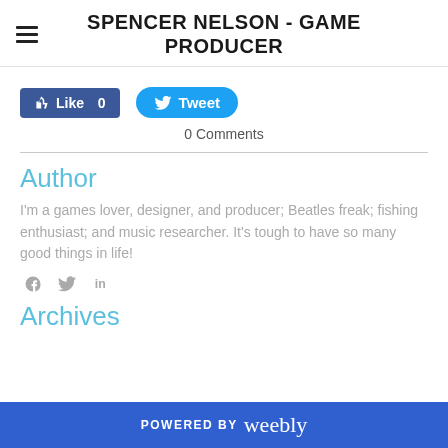SPENCER NELSON - GAME PRODUCER
[Figure (infographic): Facebook Like button (blue rectangle) showing 'Like 0' and Twitter Tweet button (blue rounded rectangle) showing 'Tweet']
0 Comments
Author
I'm a games lover, designer, and producer; Beatles freak; fishing enthusiast; and music researcher. It's tough to have so many good things in life!
[Figure (infographic): Social media icons: Facebook f, Twitter bird, LinkedIn in]
Archives
POWERED BY weebly